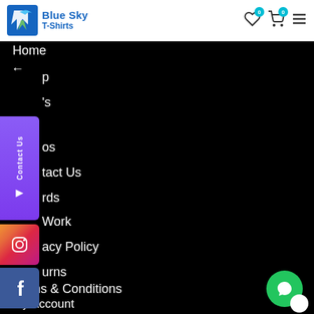[Figure (logo): Blue Sky T-Shirts logo with blue bird/lightning bolt icon and blue text]
Home
p
's
os
tact Us
rds
Work
acy Policy
urns
Terms & Conditions
My Account
Wishlist
[Figure (other): Contact Us vertical tab on left side]
[Figure (other): Instagram social tab on left side]
[Figure (other): Facebook social tab on left side]
[Figure (other): Green chat bubble in bottom right corner]